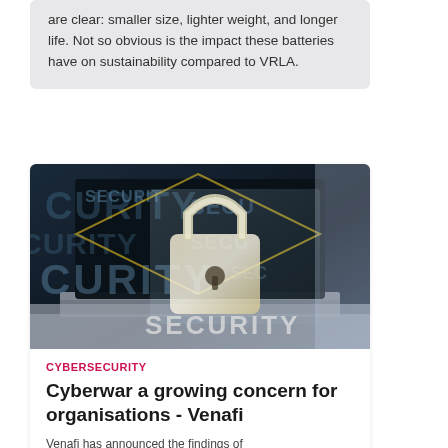are clear: smaller size, lighter weight, and longer life. Not so obvious is the impact these batteries have on sustainability compared to VRLA.
[Figure (photo): A glowing golden padlock hologram overlay on a laptop screen with the word SECURITY repeated in the background, cybersecurity themed image.]
CYBERSECURITY
Cyberwar a growing concern for organisations - Venafi
Venafi has announced the findings of